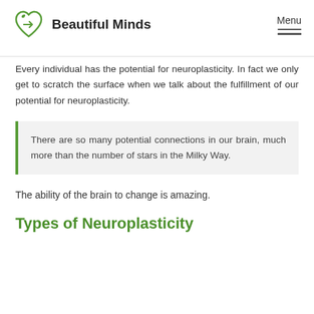Beautiful Minds
Every individual has the potential for neuroplasticity. In fact we only get to scratch the surface when we talk about the fulfillment of our potential for neuroplasticity.
There are so many potential connections in our brain, much more than the number of stars in the Milky Way.
The ability of the brain to change is amazing.
Types of Neuroplasticity